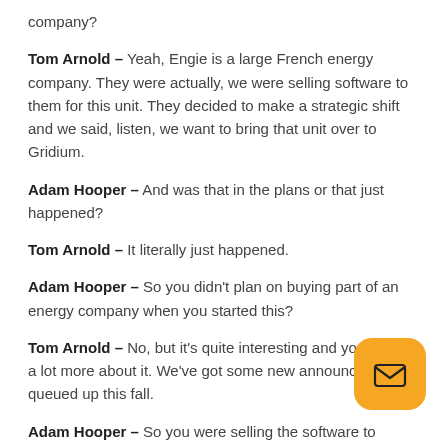company?
Tom Arnold – Yeah, Engie is a large French energy company. They were actually, we were selling software to them for this unit. They decided to make a strategic shift and we said, listen, we want to bring that unit over to Gridium.
Adam Hooper – And was that in the plans or that just happened?
Tom Arnold – It literally just happened.
Adam Hooper – So you didn't plan on buying part of an energy company when you started this?
Tom Arnold – No, but it's quite interesting and you'll hear a lot more about it. We've got some new announcements queued up this fall.
Adam Hooper – So you were selling the software to